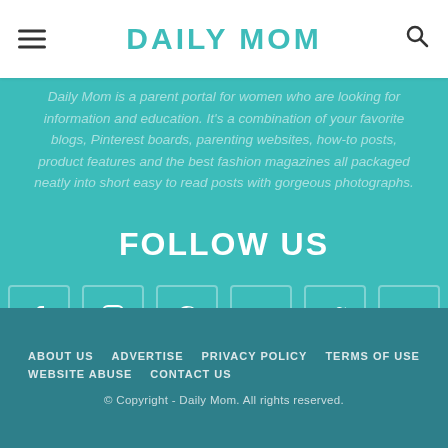DAILY MOM
Daily Mom is a parent portal for women who are looking for information and education. It's a combination of your favorite blogs, Pinterest boards, parenting websites, how-to posts, product features and the best fashion magazines all packaged neatly into short easy to read posts with gorgeous photographs.
FOLLOW US
[Figure (infographic): Social media icons: Facebook, Instagram, Pinterest, RSS, Twitter, YouTube]
ABOUT US  ADVERTISE  PRIVACY POLICY  TERMS OF USE  WEBSITE ABUSE  CONTACT US  © Copyright - Daily Mom. All rights reserved.